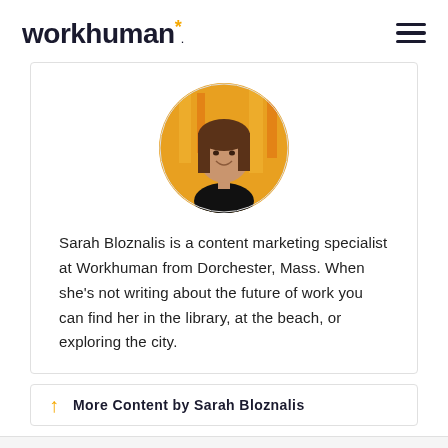workhuman*
[Figure (photo): Circular profile photo of Sarah Bloznalis, a woman with brown hair wearing a black top, smiling, with a colorful orange/yellow background.]
Sarah Bloznalis is a content marketing specialist at Workhuman from Dorchester, Mass. When she's not writing about the future of work you can find her in the library, at the beach, or exploring the city.
More Content by Sarah Bloznalis